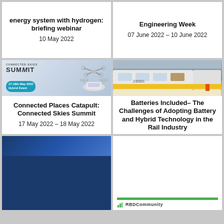energy system with hydrogen: briefing webinar
10 May 2022
Engineering Week
07 June 2022 – 10 June 2022
[Figure (photo): Connected Skies Summit promotional image with drone and air taxi, 17-18th May 2022 Hybrid Event]
[Figure (photo): Modern train at a station platform]
Connected Places Catapult: Connected Skies Summit
17 May 2022 – 18 May 2022
Batteries Included– The Challenges of Adopting Battery and Hybrid Technology in the Rail Industry
04 May 2022
[Figure (photo): Blue/dark abstract image bottom left]
[Figure (logo): RBDCommunity logo with green bar]